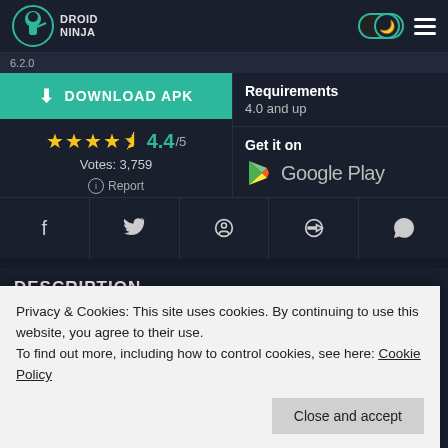DROID NINJA
6.2.0
DOWNLOAD APK
4.4/5 Votes: 3,759
Report
Requirements
4.0 and up
Get it on Google Play
DESCRIPTION
Privacy & Cookies: This site uses cookies. By continuing to use this website, you agree to their use.
To find out more, including how to control cookies, see here: Cookie Policy
EZ Notes is the only note-taking organizer that transcribes and